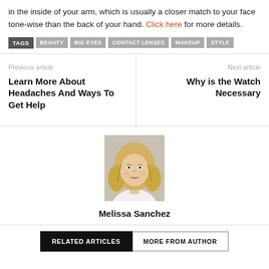in the inside of your arm, which is usually a closer match to your face tone-wise than the back of your hand. Click here for more details.
TAGS  BEAUTY  BIG EYES  CONTACT LENSES  MAKEUP  STYLE
Previous article
Learn More About Headaches And Ways To Get Help
Next article
Why is the Watch Necessary
[Figure (photo): Portrait photo of a blonde woman (Melissa Sanchez)]
Melissa Sanchez
RELATED ARTICLES   MORE FROM AUTHOR